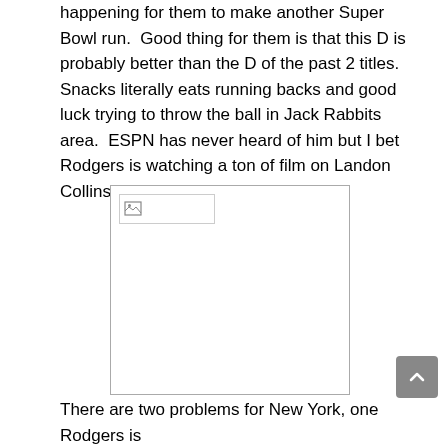happening for them to make another Super Bowl run.  Good thing for them is that this D is probably better than the D of the past 2 titles.  Snacks literally eats running backs and good luck trying to throw the ball in Jack Rabbits area.  ESPN has never heard of him but I bet Rodgers is watching a ton of film on Landon Collins this week.
[Figure (photo): Broken image placeholder with a small image icon in the top-left corner inside a bordered rectangle]
There are two problems for New York, one Rodgers is